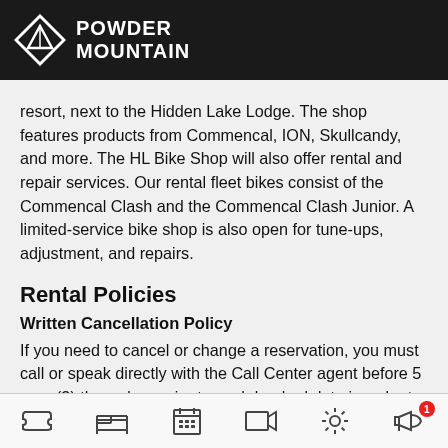POWDER MOUNTAIN
resort, next to the Hidden Lake Lodge. The shop features products from Commencal, ION, Skullcandy, and more. The HL Bike Shop will also offer rental and repair services. Our rental fleet bikes consist of the Commencal Clash and the Commencal Clash Junior. A limited-service bike shop is also open for tune-ups, adjustment, and repairs.
Rental Policies
Written Cancellation Policy
If you need to cancel or change a reservation, you must call or speak directly with the Call Center agent before 5 p.m. (3) three days prior to each booked date in order to receive